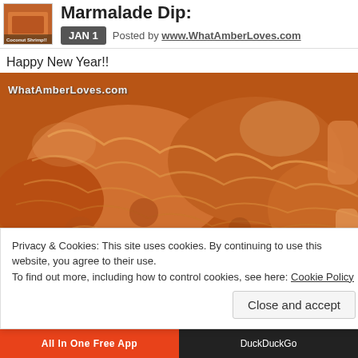Marmalade Dip:
JAN 1  Posted by www.WhatAmberLoves.com
Happy New Year!!
[Figure (photo): Close-up photo of coconut shrimp, golden brown fried coconut coating, with watermark 'WhatAmberLoves.com']
Privacy & Cookies: This site uses cookies. By continuing to use this website, you agree to their use.
To find out more, including how to control cookies, see here: Cookie Policy
Close and accept
All In One Free App    DuckDuckGo